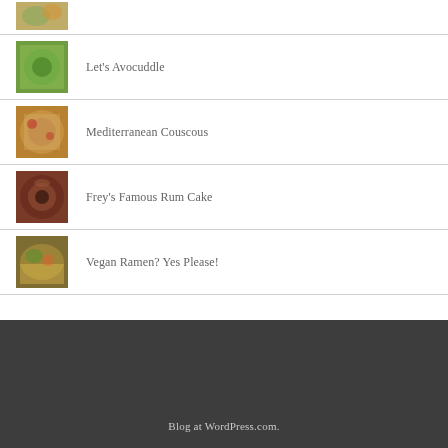[Figure (photo): Thumbnail of food dish (partial, cropped at top)]
Let's Avocuddle
Mediterranean Couscous
Frey's Famous Rum Cake
Vegan Ramen? Yes Please!
Blog at WordPress.com.